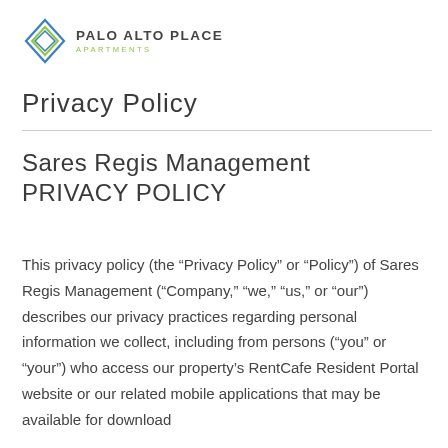[Figure (logo): Palo Alto Place Apartments logo with diamond/rhombus geometric icon in blue and green, and text PALO ALTO PLACE in dark gray bold and APARTMENTS in green small caps]
Privacy Policy
Sares Regis Management PRIVACY POLICY
This privacy policy (the “Privacy Policy” or “Policy”) of Sares Regis Management (“Company,” “we,” “us,” or “our”) describes our privacy practices regarding personal information we collect, including from persons (“you” or “your”) who access our property’s RentCafe Resident Portal website or our related mobile applications that may be available for download